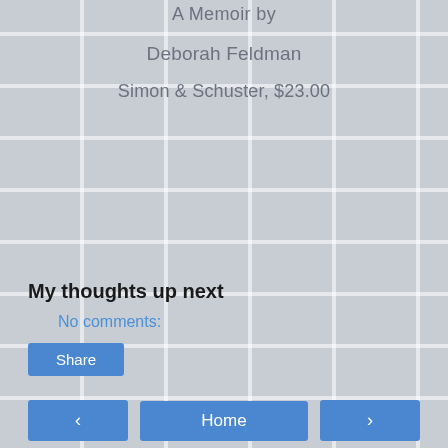A Memoir by
Deborah Feldman
Simon & Schuster,  $23.00
[Figure (photo): Background image of bookshelves with books, washed out in light gray tones]
My thoughts up next
No comments:
Share
Home
View web version
Powered by Blogger.